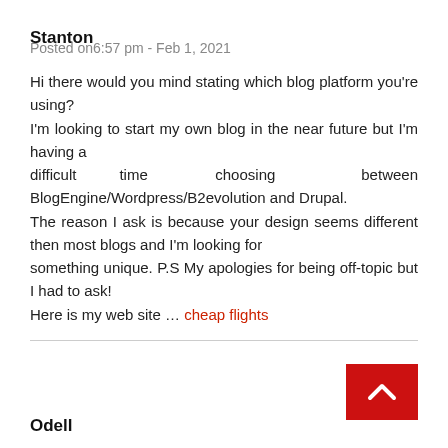Stanton
Posted on6:57 pm - Feb 1, 2021
Hi there would you mind stating which blog platform you're using?
I'm looking to start my own blog in the near future but I'm having a
difficult time choosing between BlogEngine/Wordpress/B2evolution and Drupal.
The reason I ask is because your design seems different then most blogs and I'm looking for
something unique. P.S My apologies for being off-topic but I had to ask!
Here is my web site … cheap flights
Odell